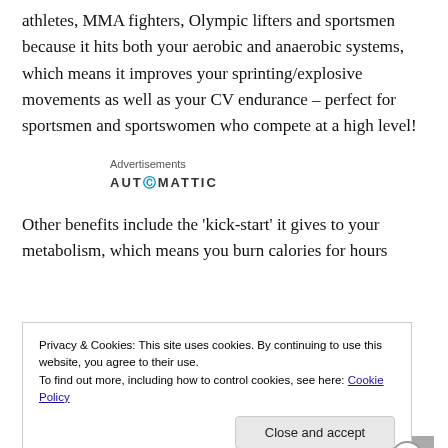athletes, MMA fighters, Olympic lifters and sportsmen because it hits both your aerobic and anaerobic systems, which means it improves your sprinting/explosive movements as well as your CV endurance – perfect for sportsmen and sportswomen who compete at a high level!
Advertisements
[Figure (logo): Automattic logo text in bold spaced letters with an @ symbol styled in blue]
Other benefits include the 'kick-start' it gives to your metabolism, which means you burn calories for hours
Privacy & Cookies: This site uses cookies. By continuing to use this website, you agree to their use.
To find out more, including how to control cookies, see here: Cookie Policy
Close and accept